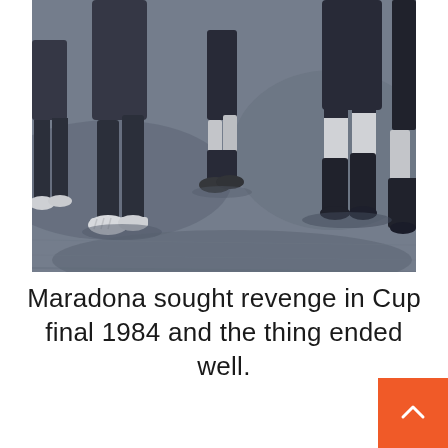[Figure (photo): Black and white photograph showing football/soccer players' legs and feet on a grass pitch during a match, with players wearing dark shorts, socks, and boots visible.]
Maradona sought revenge in Cup final 1984 and the thing ended well.